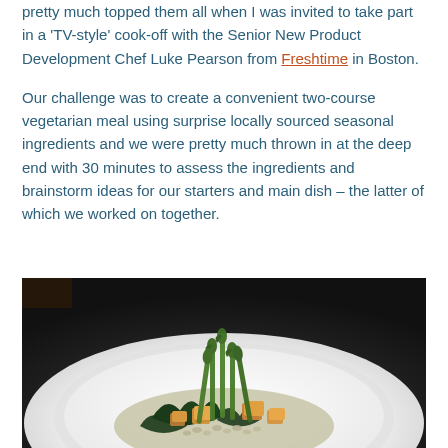pretty much topped them all when I was invited to take part in a 'TV-style' cook-off with the Senior New Product Development Chef Luke Pearson from Freshtime in Boston.
Our challenge was to create a convenient two-course vegetarian meal using surprise locally sourced seasonal ingredients and we were pretty much thrown in at the deep end with 30 minutes to assess the ingredients and brainstorm ideas for our starters and main dish – the latter of which we worked on together.
[Figure (photo): A white plate with a vegetarian dish featuring asparagus spears, dark leafy greens (spinach), pearl barley or grains, and golden roasted potato cubes.]